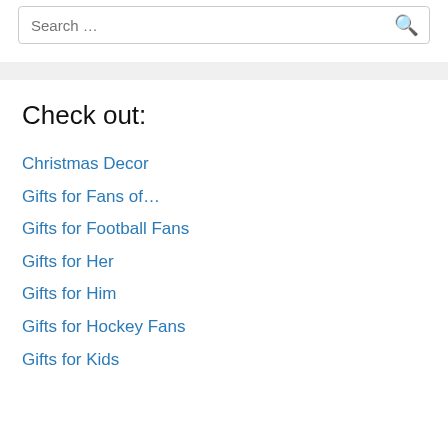Search …
Check out:
Christmas Decor
Gifts for Fans of…
Gifts for Football Fans
Gifts for Her
Gifts for Him
Gifts for Hockey Fans
Gifts for Kids